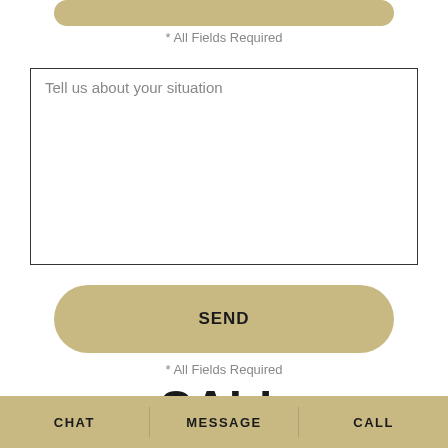* All Fields Required
[Figure (screenshot): Text area input field with placeholder text 'Tell us about your situation']
[Figure (screenshot): SEND button with rounded pill shape in tan/gold color]
* All Fields Required
CALL
850-604-4858
CHAT   MESSAGE   CALL